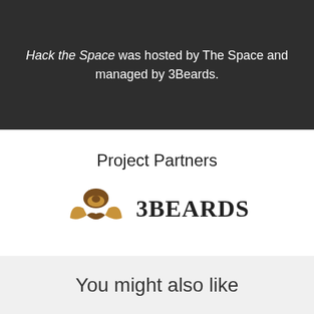Hack the Space was hosted by The Space and managed by 3Beards.
Project Partners
[Figure (logo): 3Beards logo: a stylized brown beard and mustache icon with the text '3BEARDS' in bold serif font]
You might also like